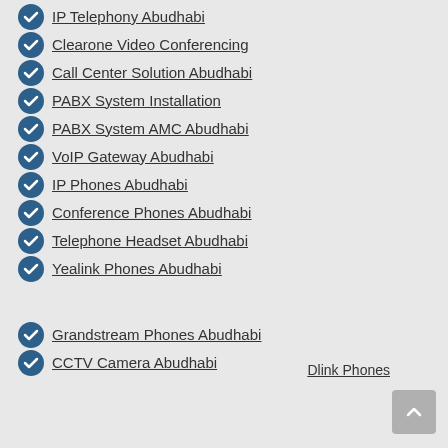IP Telephony Abudhabi
Clearone Video Conferencing
Call Center Solution Abudhabi
PABX System Installation
PABX System AMC Abudhabi
VoIP Gateway Abudhabi
IP Phones Abudhabi
Conference Phones Abudhabi
Telephone Headset Abudhabi
Yealink Phones Abudhabi
Grandstream Phones Abudhabi
CCTV Camera Abudhabi
Dlink Phones